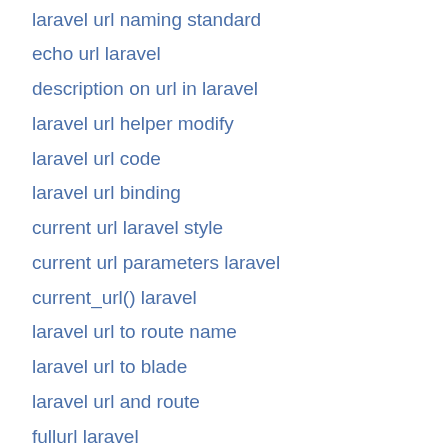laravel url naming standard
echo url laravel
description on url in laravel
laravel url helper modify
laravel url code
laravel url binding
current url laravel style
current url parameters laravel
current_url() laravel
laravel url to route name
laravel url to blade
laravel url and route
fullurl laravel
laravel set url for page